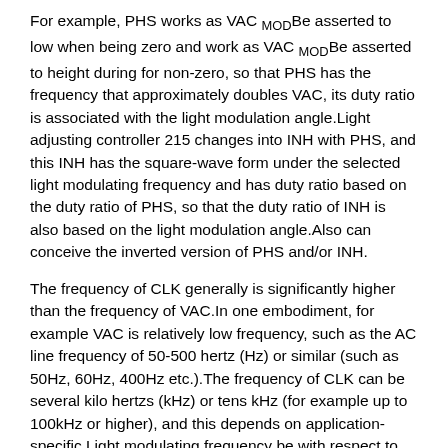For example, PHS works as VAC MOD Be asserted to low when being zero and work as VAC MOD Be asserted to height during for non-zero, so that PHS has the frequency that approximately doubles VAC, its duty ratio is associated with the light modulation angle.Light adjusting controller 215 changes into INH with PHS, and this INH has the square-wave form under the selected light modulating frequency and has duty ratio based on the duty ratio of PHS, so that the duty ratio of INH is also based on the light modulation angle.Also can conceive the inverted version of PHS and/or INH.
The frequency of CLK generally is significantly higher than the frequency of VAC.In one embodiment, for example VAC is relatively low frequency, such as the AC line frequency of 50-500 hertz (Hz) or similar (such as 50Hz, 60Hz, 400Hz etc.).The frequency of CLK can be several kilo hertzs (kHz) or tens kHz (for example up to 100kHz or higher), and this depends on application-specific.Light modulating frequency be with respect to the intermediate frequency of VAC and CLK and effectively constrain in low side with avoid glimmering and frequency constraint by switching